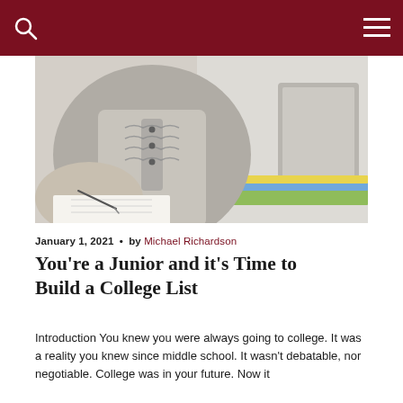[Figure (photo): A student writing in a notebook at a desk, with stacked colorful books and a laptop visible in the background. The student is wearing a grey ruffled blouse.]
January 1, 2021 • by Michael Richardson
You're a Junior and it's Time to Build a College List
Introduction You knew you were always going to college. It was a reality you knew since middle school. It wasn't debatable, nor negotiable. College was in your future. Now it